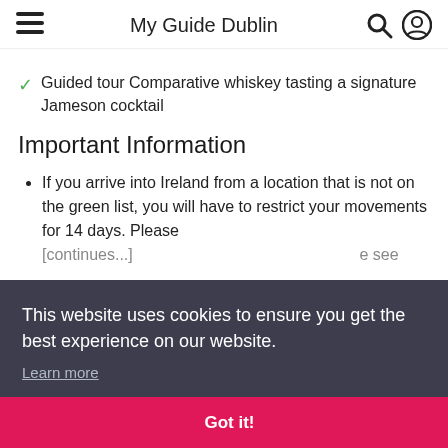My Guide Dublin
Guided tour Comparative whiskey tasting a signature Jameson cocktail
Important Information
If you arrive into Ireland from a location that is not on the green list, you will have to restrict your movements for 14 days. Please [text continues below overlay]
This website uses cookies to ensure you get the best experience on our website.
Learn more
Got it!